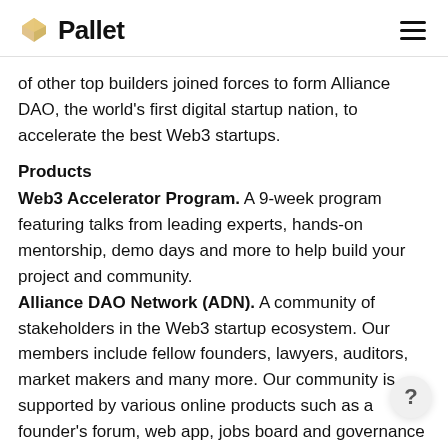Pallet
of other top builders joined forces to form Alliance DAO, the world's first digital startup nation, to accelerate the best Web3 startups.
Products
Web3 Accelerator Program. A 9-week program featuring talks from leading experts, hands-on mentorship, demo days and more to help build your project and community.
Alliance DAO Network (ADN). A community of stakeholders in the Web3 startup ecosystem. Our members include fellow founders, lawyers, auditors, market makers and many more. Our community is supported by various online products such as a founder's forum, web app, jobs board and governance tools.